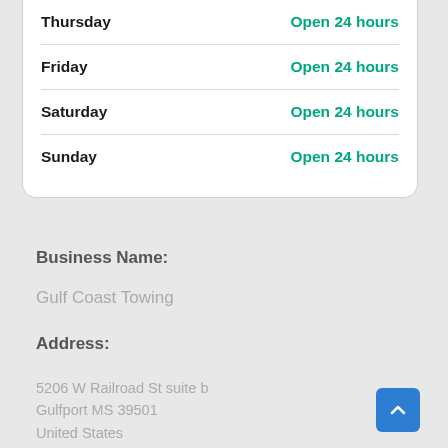| Day | Status |
| --- | --- |
| Thursday | Open 24 hours |
| Friday | Open 24 hours |
| Saturday | Open 24 hours |
| Sunday | Open 24 hours |
Business Name:
Gulf Coast Towing
Address:
5206 W Railroad St suite b
Gulfport MS 39501
United States